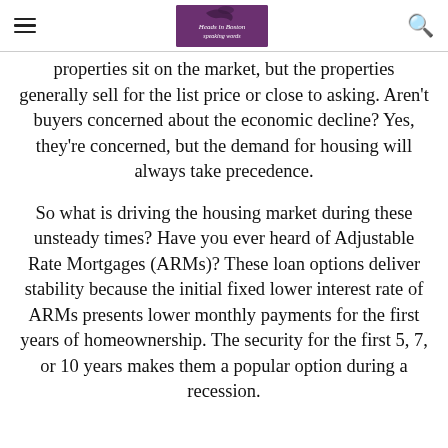≡ [Logo] 🔍
properties sit on the market, but the properties generally sell for the list price or close to asking. Aren't buyers concerned about the economic decline? Yes, they're concerned, but the demand for housing will always take precedence.
So what is driving the housing market during these unsteady times? Have you ever heard of Adjustable Rate Mortgages (ARMs)? These loan options deliver stability because the initial fixed lower interest rate of ARMs presents lower monthly payments for the first years of homeownership. The security for the first 5, 7, or 10 years makes them a popular option during a recession.